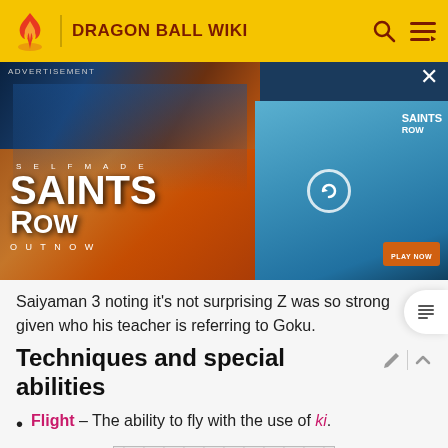DRAGON BALL WIKI
[Figure (photo): Advertisement banner for Saints Row video game showing action scenes with cars, characters, and 'SELF MADE SAINTS ROW OUT NOW' text]
Saiyaman 3 noting it's not surprising Z was so strong given who his teacher is referring to Goku.
Techniques and special abilities
Flight – The ability to fly with the use of ki.
[Figure (illustration): Manga-style black and white illustration showing a character flying in rain]